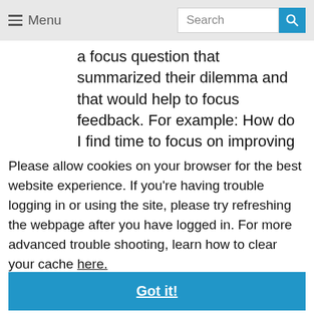Menu | Search
a focus question that summarized their dilemma and that would help to focus feedback. For example: How do I find time to focus on improving the instructional
Please allow cookies on your browser for the best website experience. If you’re having trouble logging in or using the site, please try refreshing the webpage after you have logged in. For more advanced trouble shooting, learn how to clear your cache here.
Got it!
explaining that its purpose was